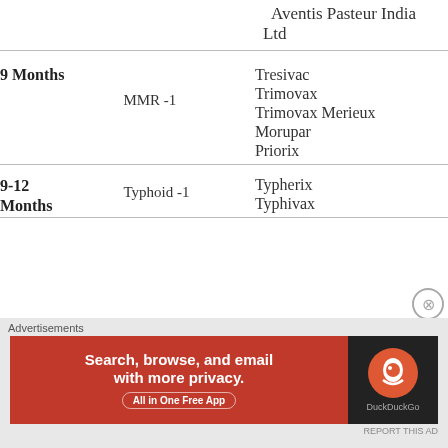Aventis Pasteur India Ltd
| Age | Vaccine | Brand |
| --- | --- | --- |
| 9 Months | MMR -1 | Tresivac |
| 9 Months | MMR -1 | Trimovax |
| 9 Months | MMR -1 | Trimovax Merieux |
| 9 Months | MMR -1 | Morupar |
| 9 Months | MMR -1 | Priorix |
| 9-12 Months | Typhoid -1 | Typherix |
| 9-12 Months | Typhoid -1 | Typhivax |
[Figure (screenshot): DuckDuckGo advertisement banner: 'Search, browse, and email with more privacy. All in One Free App']